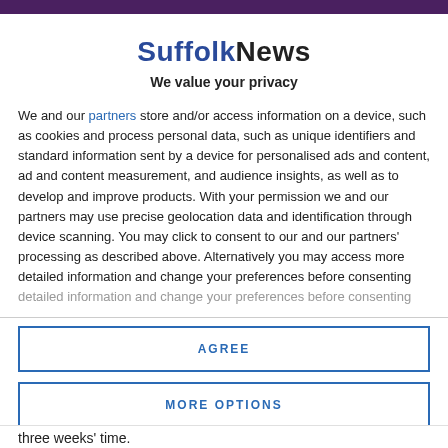SuffolkNews
We value your privacy
We and our partners store and/or access information on a device, such as cookies and process personal data, such as unique identifiers and standard information sent by a device for personalised ads and content, ad and content measurement, and audience insights, as well as to develop and improve products. With your permission we and our partners may use precise geolocation data and identification through device scanning. You may click to consent to our and our partners' processing as described above. Alternatively you may access more detailed information and change your preferences before consenting
AGREE
MORE OPTIONS
three weeks' time.